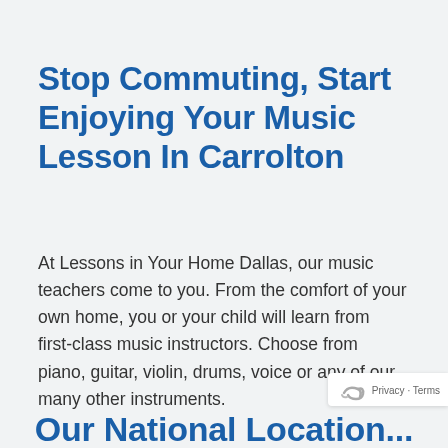Stop Commuting, Start Enjoying Your Music Lesson In Carrolton
At Lessons in Your Home Dallas, our music teachers come to you. From the comfort of your own home, you or your child will learn from first-class music instructors. Choose from piano, guitar, violin, drums, voice or any of our many other instruments.
Our National Location...